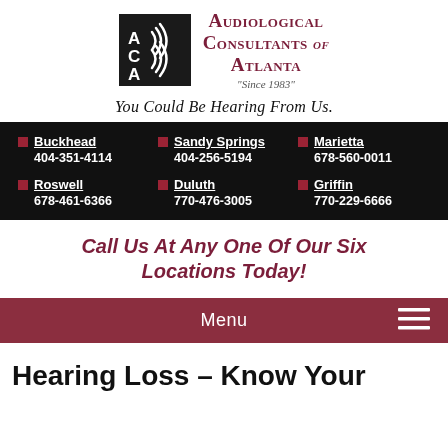[Figure (logo): ACA logo: black square with white A, C, A letters and sound wave lines, next to text 'Audiological Consultants of Atlanta - Since 1983']
You Could Be Hearing From Us.
Buckhead 404-351-4114 | Sandy Springs 404-256-5194 | Marietta 678-560-0011 | Roswell 678-461-6366 | Duluth 770-476-3005 | Griffin 770-229-6666
Call Us At Any One Of Our Six Locations Today!
Menu
Hearing Loss – Know Your